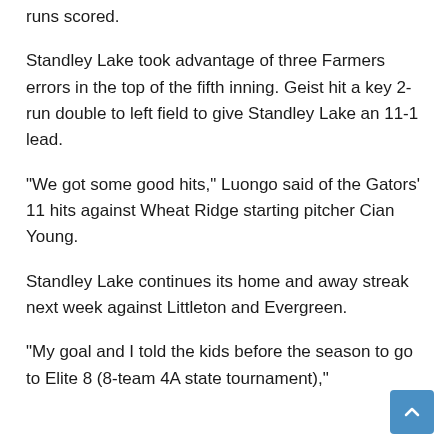runs scored.
Standley Lake took advantage of three Farmers errors in the top of the fifth inning. Geist hit a key 2-run double to left field to give Standley Lake an 11-1 lead.
“We got some good hits,” Luongo said of the Gators’ 11 hits against Wheat Ridge starting pitcher Cian Young.
Standley Lake continues its home and away streak next week against Littleton and Evergreen.
“My goal and I told the kids before the season to go to Elite 8 (8-team 4A state tournament),”